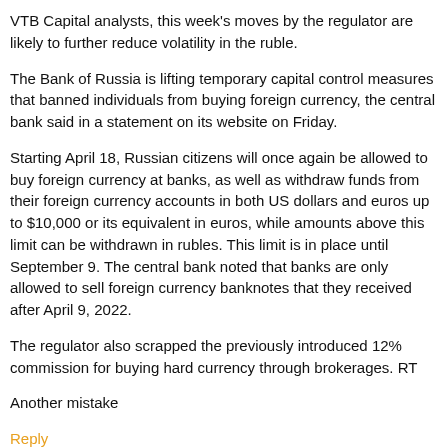VTB Capital analysts, this week's moves by the regulator are likely to further reduce volatility in the ruble.
The Bank of Russia is lifting temporary capital control measures that banned individuals from buying foreign currency, the central bank said in a statement on its website on Friday.
Starting April 18, Russian citizens will once again be allowed to buy foreign currency at banks, as well as withdraw funds from their foreign currency accounts in both US dollars and euros up to $10,000 or its equivalent in euros, while amounts above this limit can be withdrawn in rubles. This limit is in place until September 9. The central bank noted that banks are only allowed to sell foreign currency banknotes that they received after April 9, 2022.
The regulator also scrapped the previously introduced 12% commission for buying hard currency through brokerages. RT
Another mistake
Reply
jojo   on April 09, 2022  ·  at 4:18 pm EST/EDT